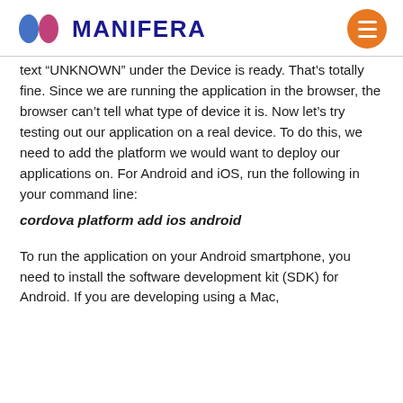MANIFERA
text “UNKNOWN” under the Device is ready. That’s totally fine. Since we are running the application in the browser, the browser can’t tell what type of device it is. Now let’s try testing out our application on a real device. To do this, we need to add the platform we would want to deploy our applications on. For Android and iOS, run the following in your command line:
cordova platform add ios android
To run the application on your Android smartphone, you need to install the software development kit (SDK) for Android. If you are developing using a Mac,